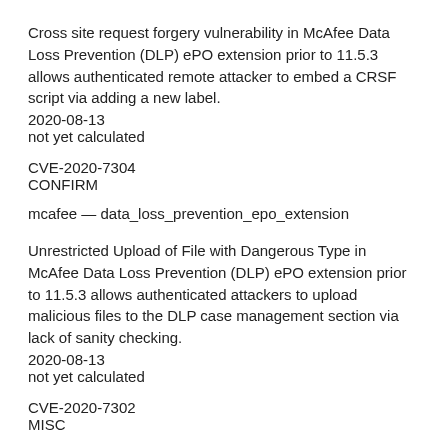Cross site request forgery vulnerability in McAfee Data Loss Prevention (DLP) ePO extension prior to 11.5.3 allows authenticated remote attacker to embed a CRSF script via adding a new label.
2020-08-13
not yet calculated
CVE-2020-7304
CONFIRM
mcafee — data_loss_prevention_epo_extension
Unrestricted Upload of File with Dangerous Type in McAfee Data Loss Prevention (DLP) ePO extension prior to 11.5.3 allows authenticated attackers to upload malicious files to the DLP case management section via lack of sanity checking.
2020-08-13
not yet calculated
CVE-2020-7302
MISC